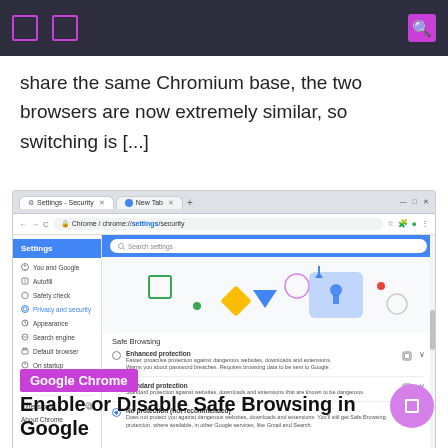share the same Chromium base, the two browsers are now extremely similar, so switching is [...]
[Figure (screenshot): Google Chrome browser screenshot showing the Settings > Privacy and security > Safe Browsing page, with options for Enhanced protection, Standard protection, and No protection (not recommended).]
Google Chrome
Enable or Disable Safe Browsing in Google